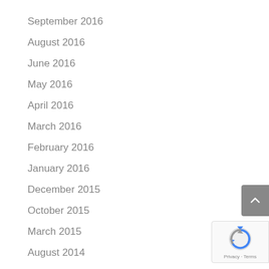September 2016
August 2016
June 2016
May 2016
April 2016
March 2016
February 2016
January 2016
December 2015
October 2015
March 2015
August 2014